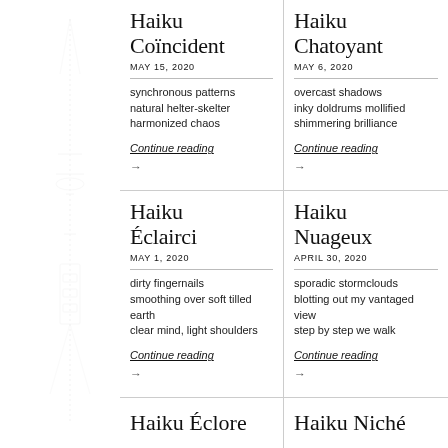Haiku Coïncident
MAY 15, 2020
synchronous patterns
natural helter-skelter
harmonized chaos
Continue reading
Haiku Chatoyant
MAY 6, 2020
overcast shadows
inky doldrums mollified
shimmering brilliance
Continue reading
Haiku Éclairci
MAY 1, 2020
dirty fingernails
smoothing over soft tilled earth
clear mind, light shoulders
Continue reading
Haiku Nuageux
APRIL 30, 2020
sporadic stormclouds
blotting out my vantaged view
step by step we walk
Continue reading
Haiku Éclore
Haiku Niché